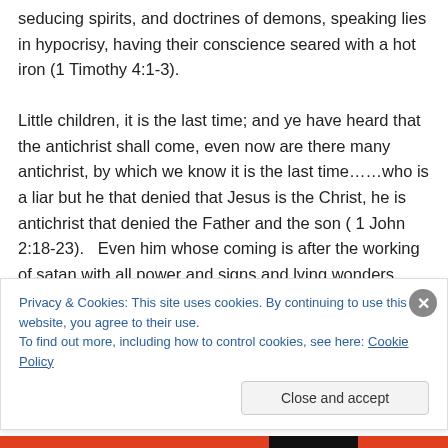seducing spirits, and doctrines of demons, speaking lies in hypocrisy, having their conscience seared with a hot iron (1 Timothy 4:1-3).

Little children, it is the last time; and ye have heard that the antichrist shall come, even now are there many antichrist, by which we know it is the last time……who is a liar but he that denied that Jesus is the Christ, he is antichrist that denied the Father and the son ( 1 John 2:18-23).   Even him whose coming is after the working of satan with all power and signs and lying wonders, and with
Privacy & Cookies: This site uses cookies. By continuing to use this website, you agree to their use.
To find out more, including how to control cookies, see here: Cookie Policy
Close and accept